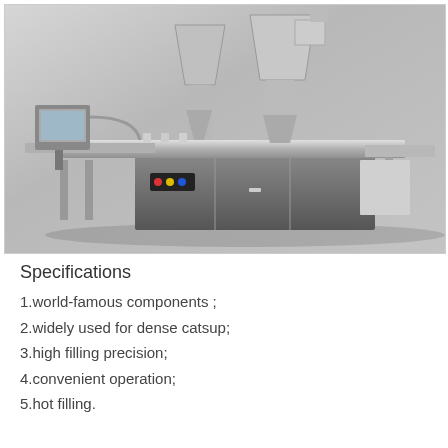[Figure (photo): Industrial filling machine — a stainless steel powder/liquid filling line with dual auger fillers, conveyor belt, control panel with colored indicator lights (red, yellow, blue), and a monitor screen on the left side.]
Specifications
1.world-famous components ;
2.widely used for dense catsup;
3.high filling precision;
4.convenient operation;
5.hot filling.